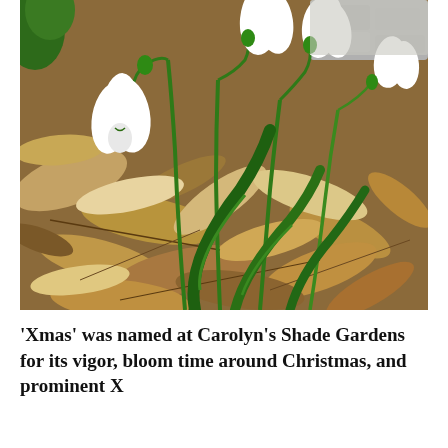[Figure (photo): Close-up photograph of white snowdrop flowers (Galanthus) with green stems and leaves, growing amid brown fallen leaves on the ground. The background shows more leaves and a stone path.]
'Xmas' was named at Carolyn's Shade Gardens for its vigor, bloom time around Christmas, and prominent X